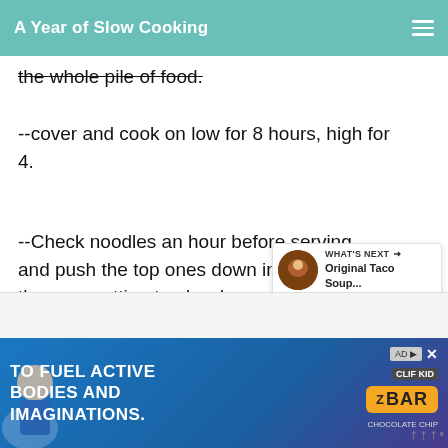A Year of Slow Cooking
the whole pile of food.
--cover and cook on low for 8 hours, high for 4.
--Check noodles an hour before serving, and push the top ones down into the liquid if they are getting too hard or are curling up.
[Figure (screenshot): WHAT'S NEXT widget showing Original Taco Soup...]
[Figure (screenshot): Advertisement banner: TO FUEL ACTIVE BODIES AND IMAGINATIONS. Z BAR by Clif Kid.]